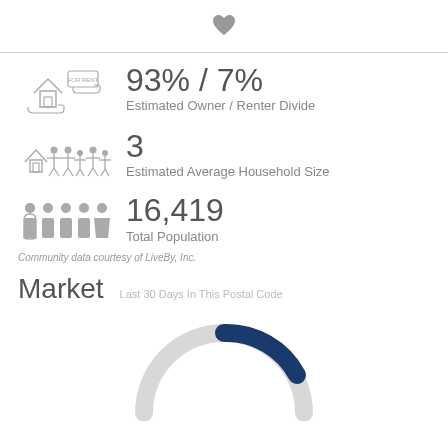♥
93% / 7%
Estimated Owner / Renter Divide
3
Estimated Average Household Size
16,419
Total Population
Community data courtesy of LiveBy, Inc.
Market   Last 30 Days In This Postal Code
[Figure (donut-chart): Partial donut/arc chart showing market data for the last 30 days in this postal code. The arc is mostly light gray with a dark navy blue segment starting at approximately the top-right portion.]